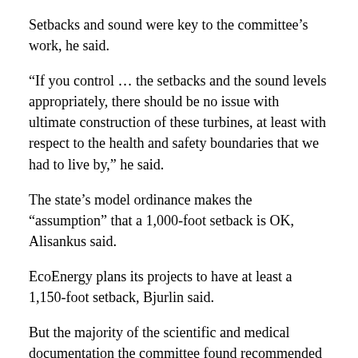Setbacks and sound were key to the committee’s work, he said.
“If you control … the setbacks and the sound levels appropriately, there should be no issue with ultimate construction of these turbines, at least with respect to the health and safety boundaries that we had to live by,” he said.
The state’s model ordinance makes the “assumption” that a 1,000-foot setback is OK, Alisankus said.
EcoEnergy plans its projects to have at least a 1,150-foot setback, Bjurlin said.
But the majority of the scientific and medical documentation the committee found recommended a minimum of one-half mile from homes, Alisankus said.
Their research came from the World Health Organization, audiologists, physicists, acoustical engineers, doctors and